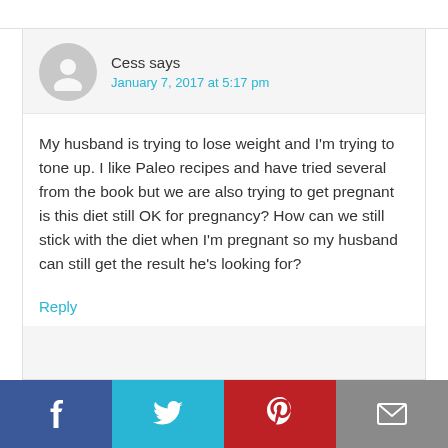Cess says
January 7, 2017 at 5:17 pm
My husband is trying to lose weight and I'm trying to tone up. I like Paleo recipes and have tried several from the book but we are also trying to get pregnant is this diet still OK for pregnancy? How can we still stick with the diet when I'm pregnant so my husband can still get the result he's looking for?
Reply